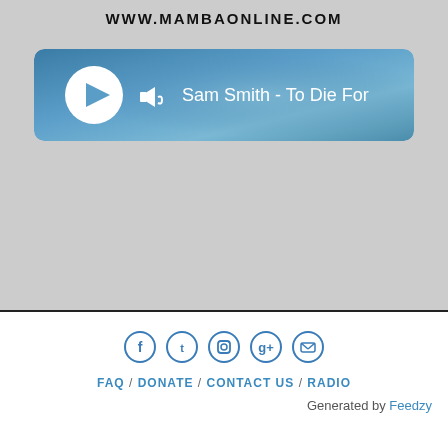WWW.MAMBAONLINE.COM
[Figure (screenshot): Audio player bar showing play button, volume icon, and track name 'Sam Smith - To Die For' on a blue gradient background]
[Figure (infographic): Row of five social media icons: Facebook, Twitter, Instagram, Google+, LinkedIn — outlined circle style in steel blue]
FAQ / DONATE / CONTACT US / RADIO
Generated by Feedzy